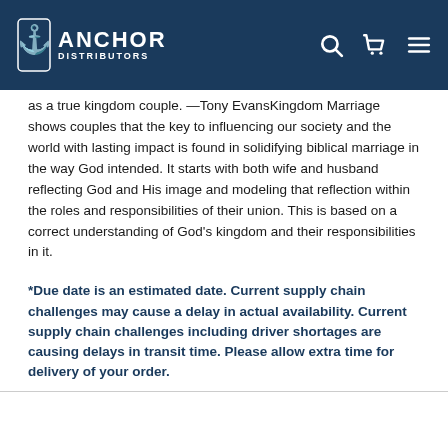Anchor Distributors
as a true kingdom couple. —Tony EvansKingdom Marriage shows couples that the key to influencing our society and the world with lasting impact is found in solidifying biblical marriage in the way God intended. It starts with both wife and husband reflecting God and His image and modeling that reflection within the roles and responsibilities of their union. This is based on a correct understanding of God’s kingdom and their responsibilities in it.
*Due date is an estimated date. Current supply chain challenges may cause a delay in actual availability. Current supply chain challenges including driver shortages are causing delays in transit time. Please allow extra time for delivery of your order.